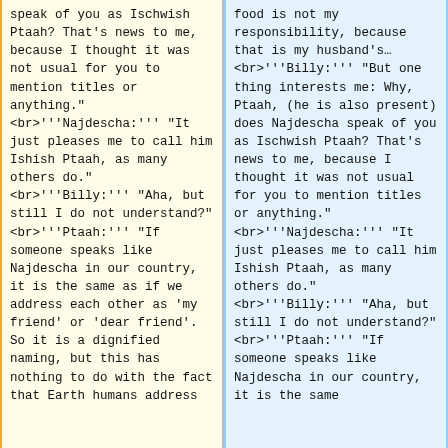speak of you as Ischwish Ptaah? That's news to me, because I thought it was not usual for you to mention titles or anything."
<br>'''Najdescha:''' "It just pleases me to call him Ishish Ptaah, as many others do."
<br>'''Billy:''' "Aha, but still I do not understand?"
<br>'''Ptaah:''' "If someone speaks like Najdescha in our country, it is the same as if we address each other as 'my friend' or 'dear friend'. So it is a dignified naming, but this has nothing to do with the fact that Earth humans address
food is not my responsibility, because that is my husband's…
<br>'''Billy:''' "But one thing interests me: Why, Ptaah, (he is also present) does Najdescha speak of you as Ischwish Ptaah? That's news to me, because I thought it was not usual for you to mention titles or anything."
<br>'''Najdescha:''' "It just pleases me to call him Ishish Ptaah, as many others do."
<br>'''Billy:''' "Aha, but still I do not understand?"
<br>'''Ptaah:''' "If someone speaks like Najdescha in our country, it is the same